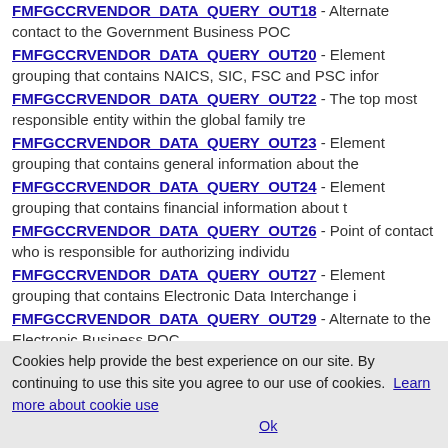FMFGCCRVENDOR_DATA_QUERY_OUT18 - Alternate contact to the Government Business POC
FMFGCCRVENDOR_DATA_QUERY_OUT20 - Element grouping that contains NAICS, SIC, FSC and PSC infor
FMFGCCRVENDOR_DATA_QUERY_OUT22 - The top most responsible entity within the global family tre
FMFGCCRVENDOR_DATA_QUERY_OUT23 - Element grouping that contains general information about the
FMFGCCRVENDOR_DATA_QUERY_OUT24 - Element grouping that contains financial information about t
FMFGCCRVENDOR_DATA_QUERY_OUT26 - Point of contact who is responsible for authorizing individu
FMFGCCRVENDOR_DATA_QUERY_OUT27 - Element grouping that contains Electronic Data Interchange i
FMFGCCRVENDOR_DATA_QUERY_OUT29 - Alternate to the Electronic Business POC
Cookies help provide the best experience on our site. By continuing to use this site you agree to our use of cookies. Learn more about cookie use Ok